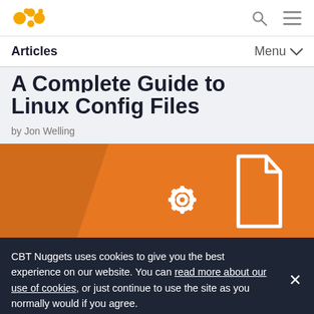CBT Nuggets logo, search and menu icons
Articles  Menu
A Complete Guide to Linux Config Files
by Jon Welling
[Figure (illustration): Orange background with white file/document icon with a gear/settings symbol overlaid, representing Linux config files]
CBT Nuggets uses cookies to give you the best experience on our website. You can read more about our use of cookies, or just continue to use the site as you normally would if you agree.